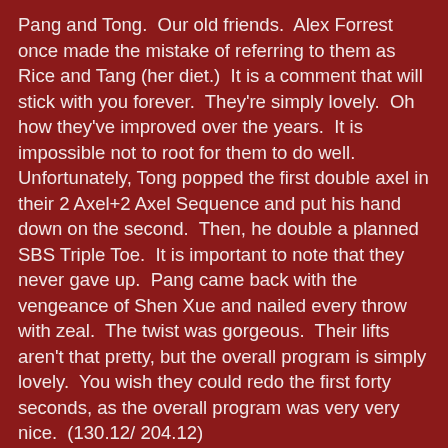Pang and Tong.  Our old friends.  Alex Forrest once made the mistake of referring to them as Rice and Tang (her diet.)  It is a comment that will stick with you forever.  They're simply lovely.  Oh how they've improved over the years.  It is impossible not to root for them to do well.  Unfortunately, Tong popped the first double axel in their 2 Axel+2 Axel Sequence and put his hand down on the second.  Then, he double a planned SBS Triple Toe.  It is important to note that they never gave up.  Pang came back with the vengeance of Shen Xue and nailed every throw with zeal.  The twist was gorgeous.  Their lifts aren't that pretty, but the overall program is simply lovely.  You wish they could redo the first forty seconds, as the overall program was very very nice.  (130.12/ 204.12)
With that, China only qualifies two pairs to Worlds next season.  Pang and Tong will not be allowed to retire until that third spot returns.
Bazarova and Larionov skated third in the final flight.  Her SBS 3 Toe seemingly never left the ice, while he fell on his.  Kate Middleton's left half is a gorgeous skater with beautiful